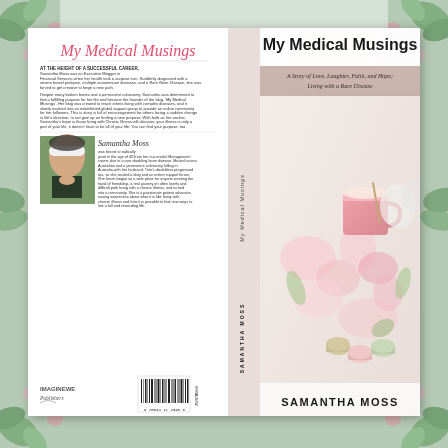[Figure (illustration): Book cover for 'My Medical Musings: A Story of Love, Laughter, Faith, and Hope; Living with a Rare Disease' by Samantha Moss. Shows full book spread including back cover with cursive title, author bio with photo, spine, and front cover with title text over a background of pink roses, a pink mug, and macarons. Publisher: ImagineWE Publishers.]